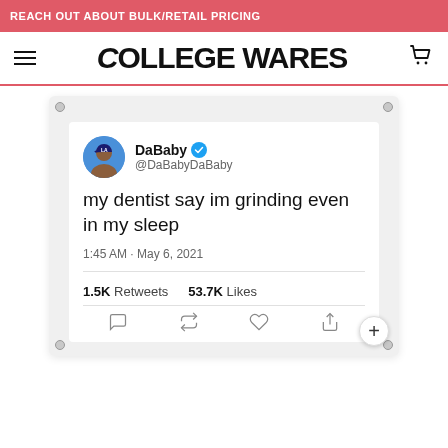REACH OUT ABOUT BULK/RETAIL PRICING
COLLEGE WARES
[Figure (photo): Product photo of a fabric banner/tapestry with a tweet by DaBaby (@DaBabyDaBaby): 'my dentist say im grinding even in my sleep' — 1:45 AM · May 6, 2021 — 1.5K Retweets, 53.7K Likes]